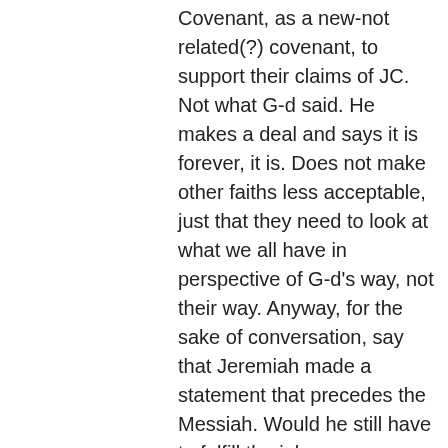Covenant, as a new-not related(?) covenant, to support their claims of JC. Not what G-d said. He makes a deal and says it is forever, it is. Does not make other faiths less acceptable, just that they need to look at what we all have in perspective of G-d's way, not their way. Anyway, for the sake of conversation, say that Jeremiah made a statement that precedes the Messiah. Would he still have to fulfill the job-requirements?
Shalom;
Yechiel
↳ Reply
Freedom (@guardfreedoms) on March 3, 2013 at